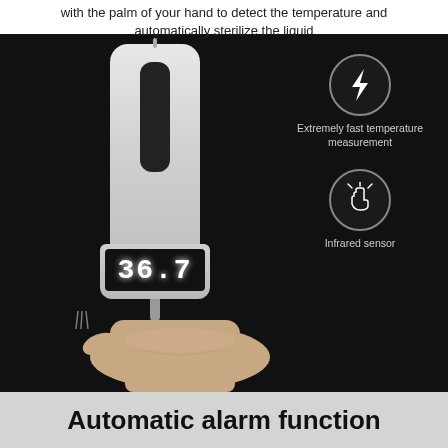with the palm of your hand to detect the temperature and automatically sterilize the liquid
[Figure (photo): Product photo of an automatic hand sanitizer dispenser with infrared temperature sensor showing 36.7 on its LED display, held above a palm. Right side shows two icons: a lightning bolt for 'Extremely fast temperature measurement' and a hand/sensor icon for 'Infrared sensor'. Dark background.]
Automatic alarm function